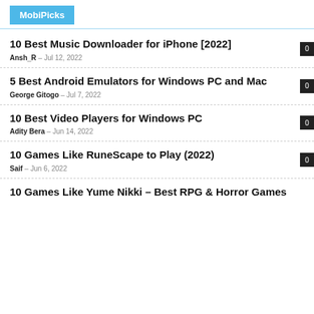MobiPicks
10 Best Music Downloader for iPhone [2022]
Ansh_R – Jul 12, 2022
5 Best Android Emulators for Windows PC and Mac
George Gitogo – Jul 7, 2022
10 Best Video Players for Windows PC
Adity Bera – Jun 14, 2022
10 Games Like RuneScape to Play (2022)
Saif – Jun 6, 2022
10 Games Like Yume Nikki – Best RPG & Horror Games